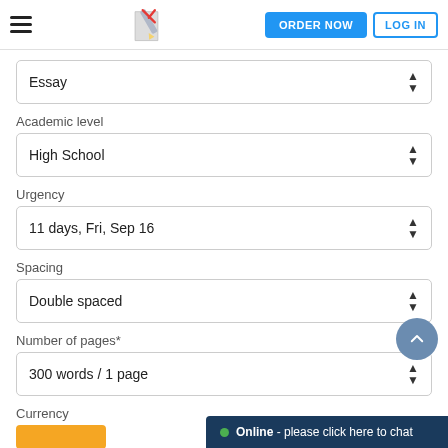ORDER NOW  LOG IN
Essay
Academic level
High School
Urgency
11 days, Fri, Sep 16
Spacing
Double spaced
Number of pages*
300 words / 1 page
Currency
Online - please click here to chat